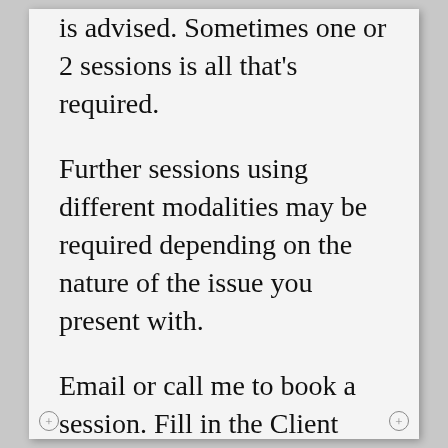is advised. Sometimes one or 2 sessions is all that's required.
Further sessions using different modalities may be required depending on the nature of the issue you present with.
Email or call me to book a session. Fill in the Client Questionnaire before we meet, so I can fully prepare for your session.